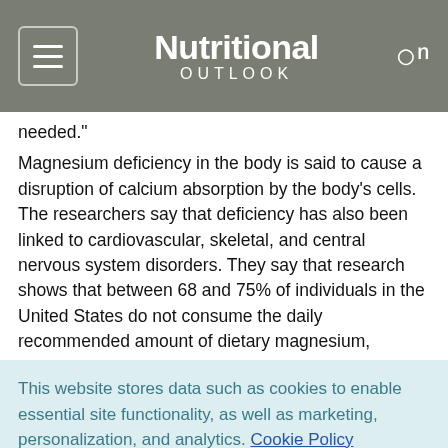Nutritional OUTLOOK
needed."
Magnesium deficiency in the body is said to cause a disruption of calcium absorption by the body’s cells. The researchers say that deficiency has also been linked to cardiovascular, skeletal, and central nervous system disorders. They say that research shows that between 68 and 75% of individuals in the United States do not consume the daily recommended amount of dietary magnesium,
This website stores data such as cookies to enable essential site functionality, as well as marketing, personalization, and analytics. Cookie Policy
Accept
Deny